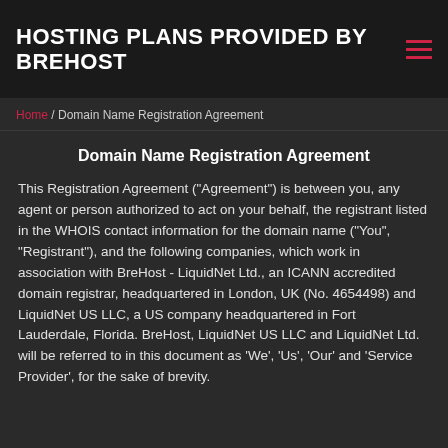HOSTING PLANS PROVIDED BY BREHOST
Home / Domain Name Registration Agreement
Domain Name Registration Agreement
This Registration Agreement ("Agreement") is between you, any agent or person authorized to act on your behalf, the registrant listed in the WHOIS contact information for the domain name ("You", "Registrant"), and the following companies, which work in association with BreHost - LiquidNet Ltd., an ICANN accredited domain registrar, headquartered in London, UK (No. 4654498) and LiquidNet US LLC, a US company headquartered in Fort Lauderdale, Florida. BreHost, LiquidNet US LLC and LiquidNet Ltd. will be referred to in this document as 'We', 'Us', 'Our' and 'Service Provider', for the sake of brevity.